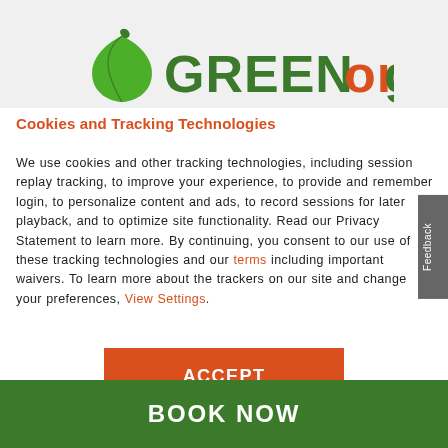[Figure (logo): GreenOnGo logo with green leaf icon and stylized text in green and orange]
Cookies and Tracking Technologies
We use cookies and other tracking technologies, including session replay tracking, to improve your experience, to provide and remember login, to personalize content and ads, to record sessions for later playback, and to optimize site functionality. Read our Privacy Statement to learn more. By continuing, you consent to our use of these tracking technologies and our terms including important waivers. To learn more about the trackers on our site and change your preferences, View Settings.
ACCEPT
BOOK NOW